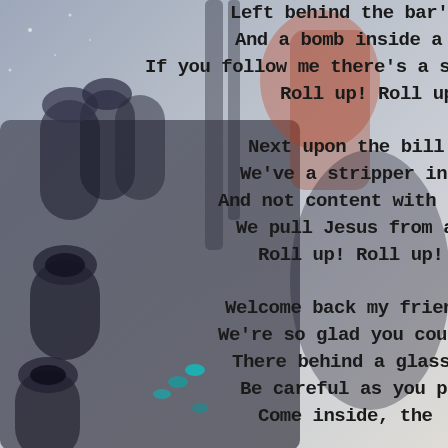[Figure (illustration): Background image of a sci-fi robotic/mecha character holding a large futuristic multi-barreled gun, rendered in dark blues, reds, and blacks against a light grey/blue gradient sky background.]
Left behind the bar's, r
And a bomb inside a c
If you follow me there's a speciality,
Roll up! Roll up!

Next upon the bill ir
We've a stripper in a b
And not content with that,
We pull Jesus from a h
Roll up! Roll up!

Welcome back my friend
We're so glad you could
There behind a glass
Be careful as you pa
Come inside, the